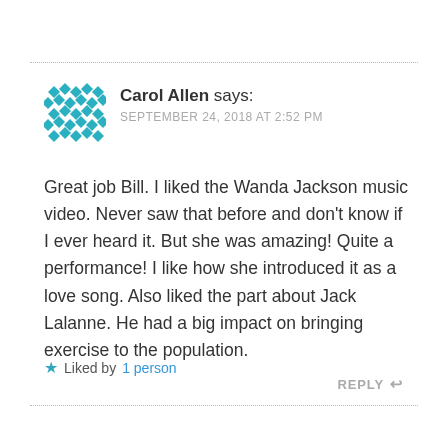[Figure (logo): Teal/cyan decorative avatar icon made of diamond/rhombus shapes in a grid pattern]
Carol Allen says:
SEPTEMBER 24, 2018 AT 2:52 PM
Great job Bill. I liked the Wanda Jackson music video. Never saw that before and don't know if I ever heard it. But she was amazing! Quite a performance! I like how she introduced it as a love song. Also liked the part about Jack Lalanne. He had a big impact on bringing exercise to the population.
★ Liked by 1 person
REPLY ↩